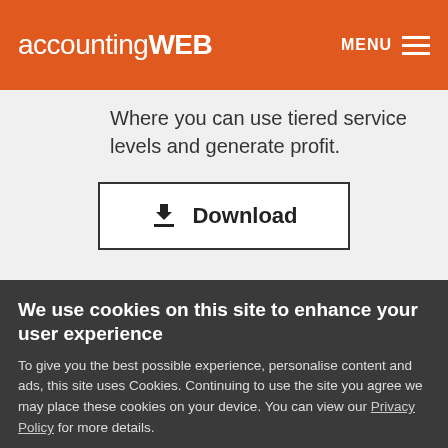accountingWEB  MENU
Where you can use tiered service levels and generate profit.
Download
We use cookies on this site to enhance your user experience
To give you the best possible experience, personalise content and ads, this site uses Cookies. Continuing to use the site you agree we may place these cookies on your device. You can view our Privacy Policy for more details.
No, give me more info
OK, I agree